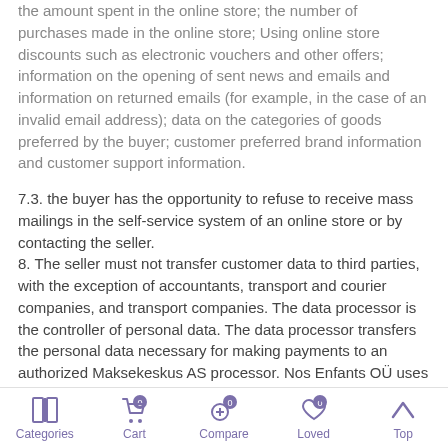the amount spent in the online store; the number of purchases made in the online store; Using online store discounts such as electronic vouchers and other offers; information on the opening of sent news and emails and information on returned emails (for example, in the case of an invalid email address); data on the categories of goods preferred by the buyer; customer preferred brand information and customer support information.
7.3. the buyer has the opportunity to refuse to receive mass mailings in the self-service system of an online store or by contacting the seller.
8. The seller must not transfer customer data to third parties, with the exception of accountants, transport and courier companies, and transport companies. The data processor is the controller of personal data. The data processor transfers the personal data necessary for making payments to an authorized Maksekeskus AS processor. Nos Enfants OÜ uses the following authorized processors and authorized processor categories:
8.1. server and other support service providers for managing the Compic OÜ self-service environment. (registry code 10641728.
Categories  Cart 0  Compare 0  Loved 0  Top